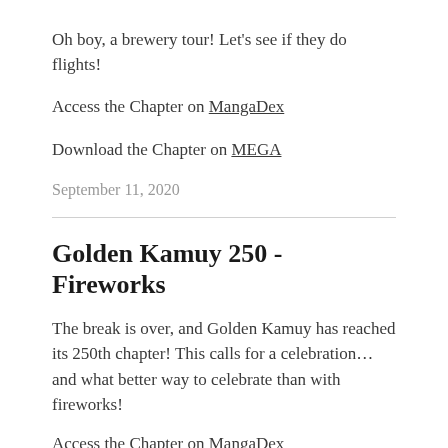Oh boy, a brewery tour! Let's see if they do flights!
Access the Chapter on MangaDex
Download the Chapter on MEGA
September 11, 2020
Golden Kamuy 250 - Fireworks
The break is over, and Golden Kamuy has reached its 250th chapter! This calls for a celebration…and what better way to celebrate than with fireworks!
Access the Chapter on MangaDex